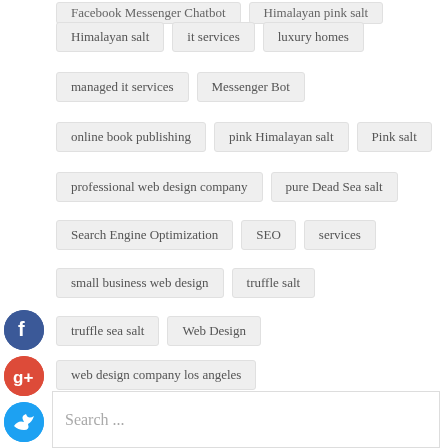Facebook Messenger Chatbot
Himalayan pink salt
Himalayan salt
it services
luxury homes
managed it services
Messenger Bot
online book publishing
pink Himalayan salt
Pink salt
professional web design company
pure Dead Sea salt
Search Engine Optimization
SEO
services
small business web design
truffle salt
truffle sea salt
Web Design
web design company los angeles
web development los angeles
website design agency los angeles